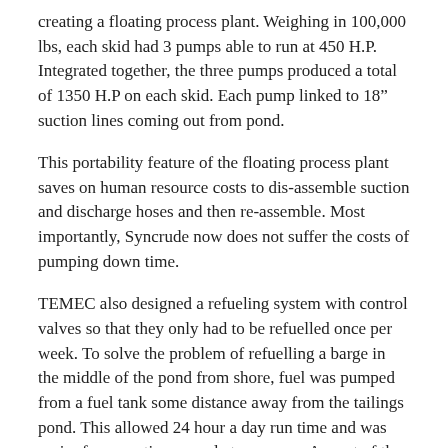creating a floating process plant. Weighing in 100,000 lbs, each skid had 3 pumps able to run at 450 H.P. Integrated together, the three pumps produced a total of 1350 H.P on each skid. Each pump linked to 18" suction lines coming out from pond.
This portability feature of the floating process plant saves on human resource costs to dis-assemble suction and discharge hoses and then re-assemble. Most importantly, Syncrude now does not suffer the costs of pumping down time.
TEMEC also designed a refueling system with control valves so that they only had to be refuelled once per week. To solve the problem of refuelling a barge in the middle of the pond from shore, fuel was pumped from a fuel tank some distance away from the tailings pond. This allowed 24 hour a day run time and was easier for operations people to manage. As part of the project, TEMEC also provided a torsional study report for the proposed pump train prototype.